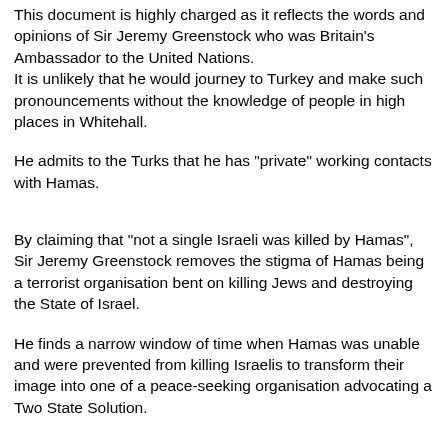This document is highly charged as it reflects the words and opinions of Sir Jeremy Greenstock who was Britain's Ambassador to the United Nations. It is unlikely that he would journey to Turkey and make such pronouncements without the knowledge of people in high places in Whitehall.
He admits to the Turks that he has "private" working contacts with Hamas.
By claiming that "not a single Israeli was killed by Hamas", Sir Jeremy Greenstock removes the stigma of Hamas being a terrorist organisation bent on killing Jews and destroying the State of Israel.
He finds a narrow window of time when Hamas was unable and were prevented from killing Israelis to transform their image into one of a peace-seeking organisation advocating a Two State Solution.